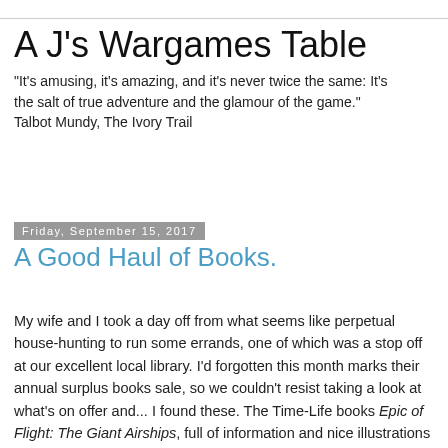A J's Wargames Table
"It's amusing, it's amazing, and it's never twice the same: It's the salt of true adventure and the glamour of the game." Talbot Mundy, The Ivory Trail
Friday, September 15, 2017
A Good Haul of Books.
My wife and I took a day off from what seems like perpetual house-hunting to run some errands, one of which was a stop off at our excellent local library. I'd forgotten this month marks their annual surplus books sale, so we couldn't resist taking a look at what's on offer and... I found these. The Time-Life books Epic of Flight: The Giant Airships, full of information and nice illustrations about that noblest of aircraft; two issues of Model Railroader from 2009 and 2013, with useful info on how to model buildings; and the star of